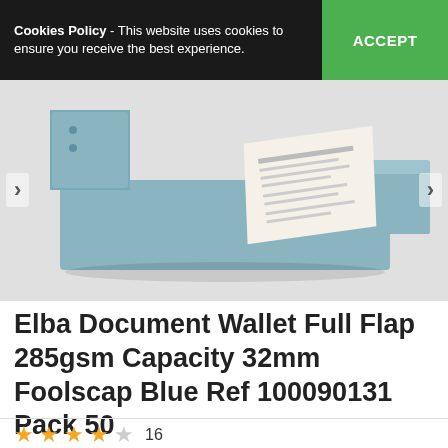Cookies Policy - This website uses cookies to ensure you receive the best experience. ACCEPT
[Figure (photo): Blue Elba document wallets with full flap, shown open with a paper form inside, on a white background. Navigation arrows on left and right sides.]
Elba Document Wallet Full Flap 285gsm Capacity 32mm Foolscap Blue Ref 100090131 Pack 50
★★★★☆ 16
Product Code: 099414